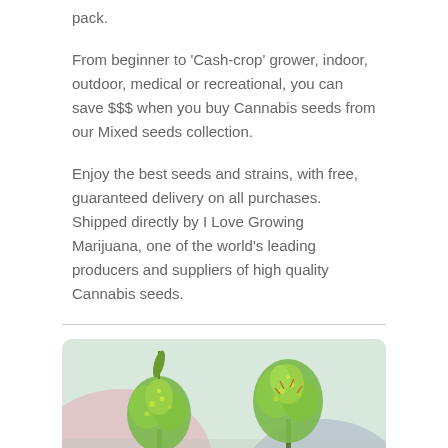pack.
From beginner to 'Cash-crop' grower, indoor, outdoor, medical or recreational, you can save $$$ when you buy Cannabis seeds from our Mixed seeds collection.
Enjoy the best seeds and strains, with free, guaranteed delivery on all purchases. Shipped directly by I Love Growing Marijuana, one of the world's leading producers and suppliers of high quality Cannabis seeds.
[Figure (photo): Two cannabis plants in bloom with bright green buds, shown against a blurred background with pink and blue colors.]